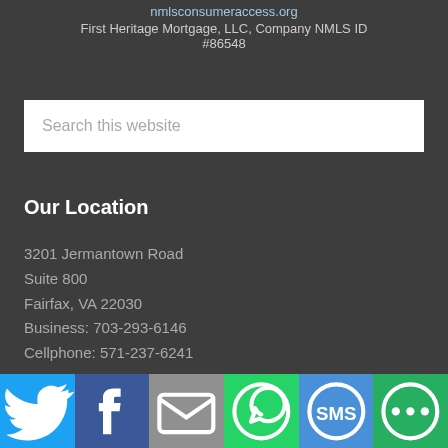nmlsconsumeraccess.org
First Heritage Mortgage, LLC, Company NMLS ID #86548
Search this website
Our Location
3201 Jermantown Road
Suite 800
Fairfax, VA 22030
Business: 703-293-6146
Cellphone: 571-237-6241
[Figure (infographic): Social sharing bar with icons for Twitter, Facebook, Email, WhatsApp, SMS, and More]